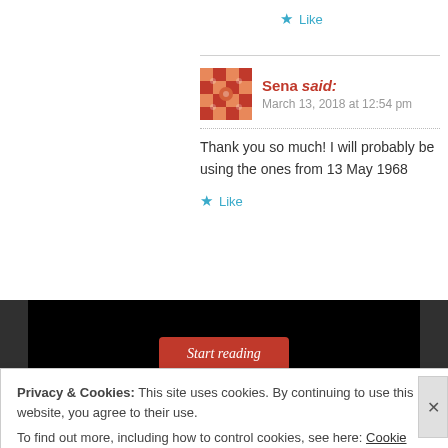★ Like
Sena said:
March 13, 2018 at 12:54 pm
Thank you so much! I will probably be using the ones from 13 May 1968
★ Like
[Figure (screenshot): Black banner with a red 'Start reading' button in the center, gray vertical bars on left and right sides]
Privacy & Cookies: This site uses cookies. By continuing to use this website, you agree to their use.
To find out more, including how to control cookies, see here: Cookie Policy
Close and accept